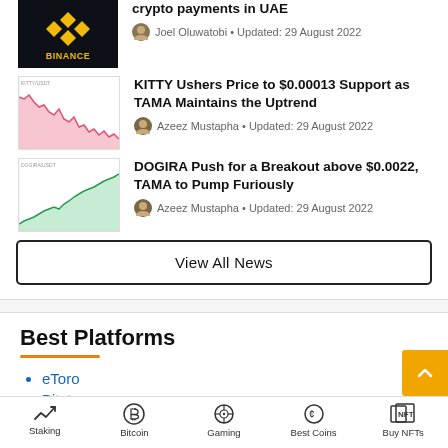[Figure (screenshot): Binance logo thumbnail - black background with yellow Binance logo]
crypto payments in UAE
Joel Oluwatobi • Updated: 29 August 2022
[Figure (continuous-plot): KITTY price chart thumbnail with pink/red area chart showing downward trend]
KITTY Ushers Price to $0.00013 Support as TAMA Maintains the Uptrend
Azeez Mustapha • Updated: 29 August 2022
[Figure (continuous-plot): DOGIRA price chart thumbnail with green area chart showing upward trend]
DOGIRA Push for a Breakout above $0.0022, TAMA to Pump Furiously
Azeez Mustapha • Updated: 29 August 2022
View All News
Best Platforms
eToro
Bitstamp